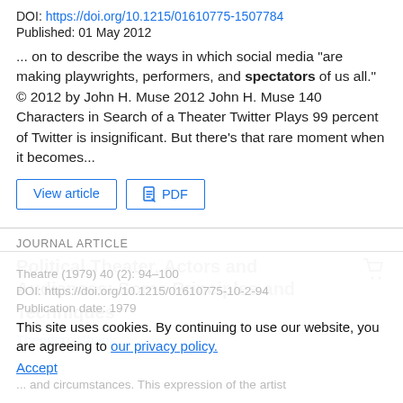DOI: https://doi.org/10.1215/01610775-1507784
Published: 01 May 2012
... on to describe the ways in which social media "are making playwrights, performers, and spectators of us all." © 2012 by John H. Muse 2012 John H. Muse 140 Characters in Search of a Theater Twitter Plays 99 percent of Twitter is insignificant. But there's that rare moment when it becomes...
View article | PDF
JOURNAL ARTICLE
Political Theater, Actors and Audiences: Some Principles and Techniques
Theodore Shank
This site uses cookies. By continuing to use our website, you are agreeing to our privacy policy.
Accept